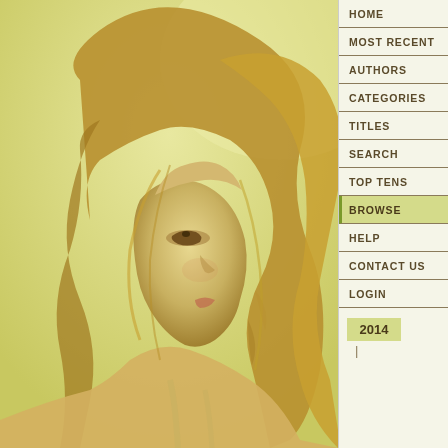[Figure (illustration): Digital painting of a woman with long flowing golden/blonde hair against a warm yellow-green background, shown in profile view facing left]
HOME
MOST RECENT
AUTHORS
CATEGORIES
TITLES
SEARCH
TOP TENS
BROWSE
HELP
CONTACT US
LOGIN
2014